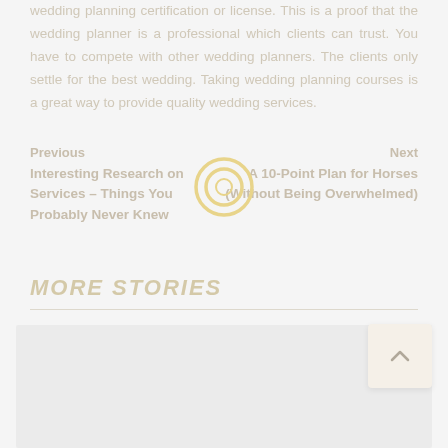wedding planning certification or license. This is a proof that the wedding planner is a professional which clients can trust. You have to compete with other wedding planners. The clients only settle for the best wedding. Taking wedding planning courses is a great way to provide quality wedding services.
Previous | Next
Interesting Research on Services – Things You Probably Never Knew | A 10-Point Plan for Horses (Without Being Overwhelmed)
MORE STORIES
[Figure (photo): Light gray placeholder image box for a story thumbnail]